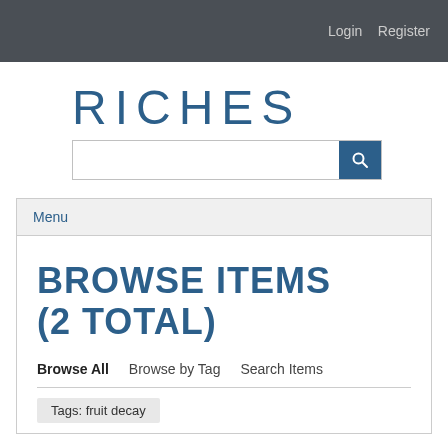Login  Register
RICHES
[Figure (other): Search bar with text input and blue search button icon]
Menu
BROWSE ITEMS (2 TOTAL)
Browse All   Browse by Tag   Search Items
Tags: fruit decay